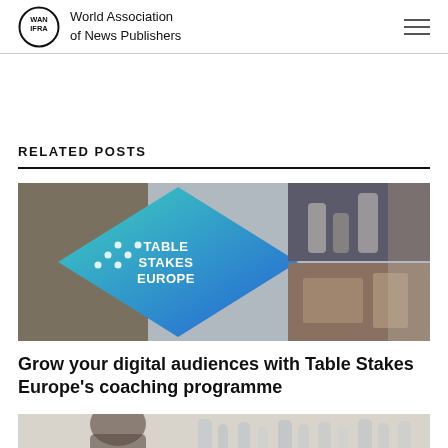World Association of News Publishers
RELATED POSTS
[Figure (photo): Table Stakes Europe promotional banner with diamond shapes and event photos showing groups of people in conference/workshop settings]
Grow your digital audiences with Table Stakes Europe's coaching programme
[Figure (photo): Partial photo of a person from behind, with blurred background showing bottles or lab equipment]